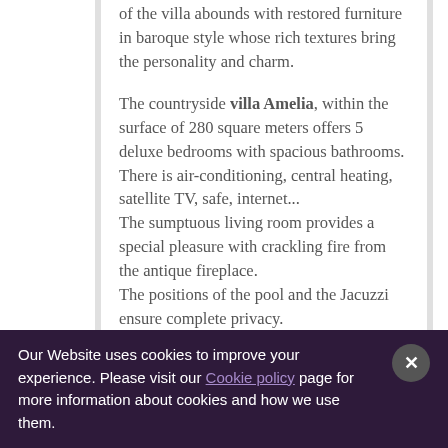of the villa abounds with restored furniture in baroque style whose rich textures bring the personality and charm.
The countryside villa Amelia, within the surface of 280 square meters offers 5 deluxe bedrooms with spacious bathrooms.
There is air-conditioning, central heating, satellite TV, safe, internet...
The sumptuous living room provides a special pleasure with crackling fire from the antique fireplace.
The positions of the pool and the Jacuzzi ensure complete privacy.
The countryside villa Amelia leaves no guest indifferent, either one is looking for an active holiday or idyllic peace in nature.
Our Website uses cookies to improve your experience. Please visit our Cookie policy page for more information about cookies and how we use them.